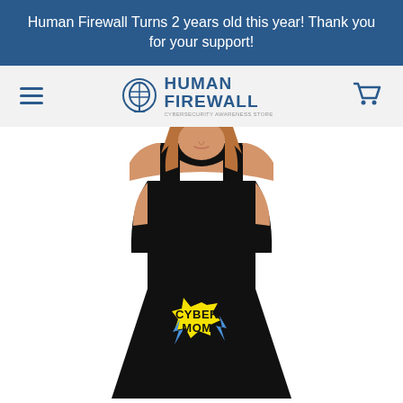Human Firewall Turns 2 years old this year! Thank you for your support!
[Figure (logo): Human Firewall logo with brain icon and text]
[Figure (photo): Woman wearing a black skater dress with 'CYBER MOM' graphic on the chest featuring a yellow starburst and blue lightning bolts]